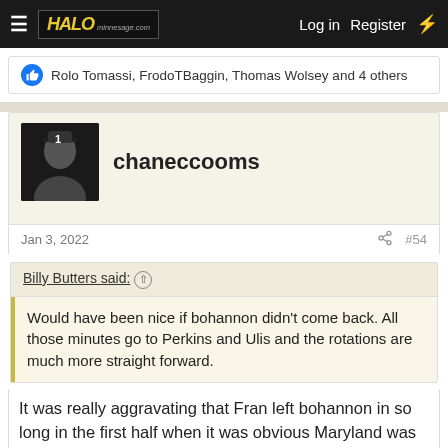HALO   Log in  Register
Rolo Tomassi, FrodoTBaggin, Thomas Wolsey and 4 others
chaneccooms
Jan 3, 2022   #54
Billy Butters said: ↑
Would have been nice if bohannon didn't come back. All those minutes go to Perkins and Ulis and the rotations are much more straight forward.
It was really aggravating that Fran left bohannon in so long in the first half when it was obvious Maryland was looking to exploit his defensive weakness on every single possession.
Rolo Tomassi and FrodoTBaggin